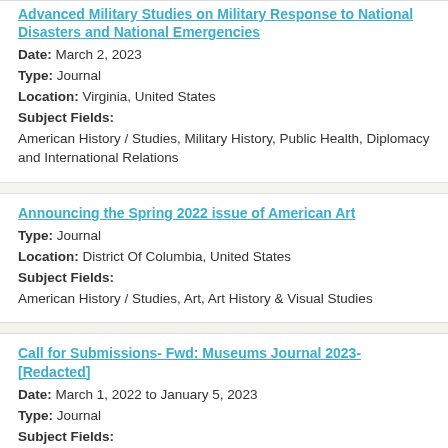Advanced Military Studies on Military Response to National Disasters and National Emergencies
Date: March 2, 2023
Type: Journal
Location: Virginia, United States
Subject Fields: American History / Studies, Military History, Public Health, Diplomacy and International Relations
Announcing the Spring 2022 issue of American Art
Type: Journal
Location: District Of Columbia, United States
Subject Fields: American History / Studies, Art, Art History & Visual Studies
Call for Submissions- Fwd: Museums Journal 2023- [Redacted]
Date: March 1, 2022 to January 5, 2023
Type: Journal
Subject Fields: American History / Studies, Archival Science, Area Studies, Art, Art History & Visual Studies, Cultural...